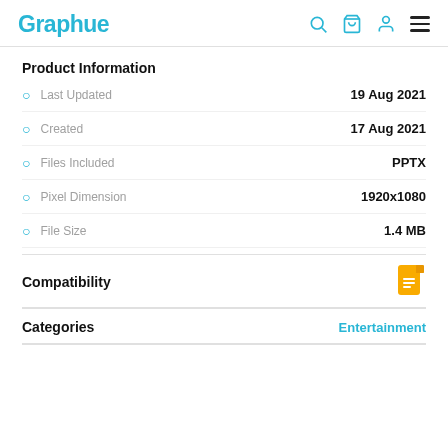Graphue
Product Information
Last Updated — 19 Aug 2021
Created — 17 Aug 2021
Files Included — PPTX
Pixel Dimension — 1920x1080
File Size — 1.4 MB
Compatibility
Categories
Entertainment